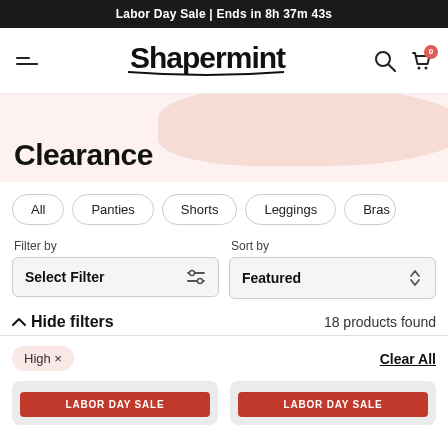Labor Day Sale | Ends in 8h 37m 43s
[Figure (logo): Shapermint logo with hamburger menu, search icon, and cart icon with badge 0]
Clearance
All
Panties
Shorts
Leggings
Bras
Filter by
Select Filter
Sort by
Featured
Hide filters
18 products found
High ×
Clear All
LABOR DAY SALE
LABOR DAY SALE